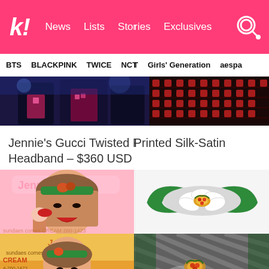k! News Lists Stories Exclusives
BTS BLACKPINK TWICE NCT Girls' Generation aespa
[Figure (photo): Two photos side by side: left shows a person in dark patterned outfit on stage, right shows a red heart patterned fabric/outfit close-up]
Jennie's Gucci Twisted Printed Silk-Satin Headband – $360 USD
[Figure (photo): Four photos: top-left shows Jennie wearing a green floral Gucci headband holding an ice cream, top-right shows the Gucci Twisted Printed Silk-Satin Headband product on white background, bottom-left shows Jennie in a CREAM shop setting wearing the headband, bottom-right shows a close-up of the headband twisted detail]